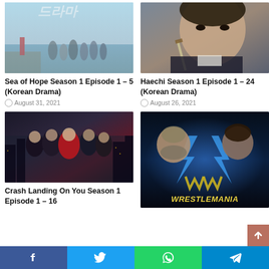[Figure (photo): Group of people standing on a seaside pier, promotional image for Sea of Hope Korean drama]
Sea of Hope Season 1 Episode 1 – 5 (Korean Drama)
August 31, 2021
[Figure (photo): Person holding a sword in historical Korean costume, promotional image for Haechi Korean drama]
Haechi Season 1 Episode 1 – 24 (Korean Drama)
August 26, 2021
[Figure (photo): Group of stylishly dressed people in dark outfits with city background, Crash Landing On You promotional image]
Crash Landing On You Season 1 Episode 1 – 16
[Figure (photo): Two wrestlers facing each other with WrestleMania logo and blue lightning effects]
Facebook Twitter WhatsApp Telegram